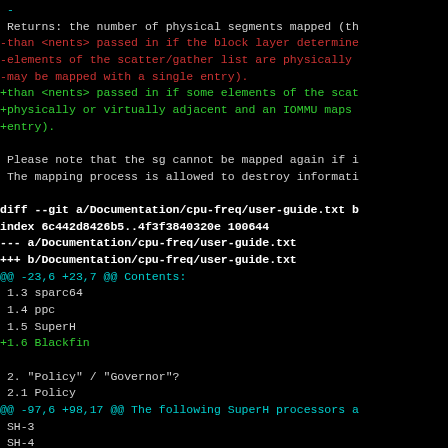diff output showing changes to Linux kernel documentation files, including sg mapping notes and cpu-freq user-guide.txt modifications
[Figure (screenshot): Terminal/diff output on black background showing git diff with cyan, red, green, and white monospace text]